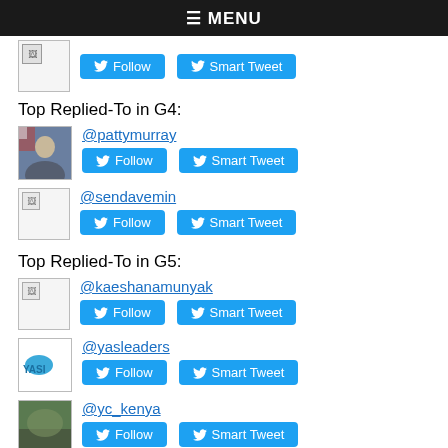≡ MENU
Follow | Smart Tweet (top partial user row)
Top Replied-To in G4:
@pattymurray — Follow, Smart Tweet
@sendavemin — Follow, Smart Tweet
Top Replied-To in G5:
@kaeshanamunyak — Follow, Smart Tweet
@yasleaders — Follow, Smart Tweet
@yc_kenya — Follow, Smart Tweet
Top Replied-To in G6: